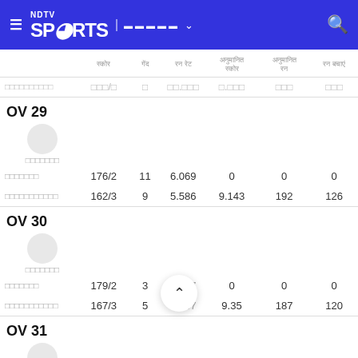NDTV Sports
|  | स्कोर | गेंद | रन रेट | अनुमानित स्कोर | अनुमानित रन | रन बचाएं |
| --- | --- | --- | --- | --- | --- | --- |
| OV 29 |  |  |  |  |  |  |
| □□□□□□ |  |  |  |  |  |  |
| □□□□□□□ | 176/2 | 11 | 6.069 | 0 | 0 | 0 |
| □□□□□□□□□□□ | 162/3 | 9 | 5.586 | 9.143 | 192 | 126 |
| OV 30 |  |  |  |  |  |  |
| □□□□□□ |  |  |  |  |  |  |
| □□□□□□□ | 179/2 | 3 | 5.967 | 0 | 0 | 0 |
| □□□□□□□□□□□ | 167/3 | 5 | 5.567 | 9.35 | 187 | 120 |
| OV 31 |  |  |  |  |  |  |